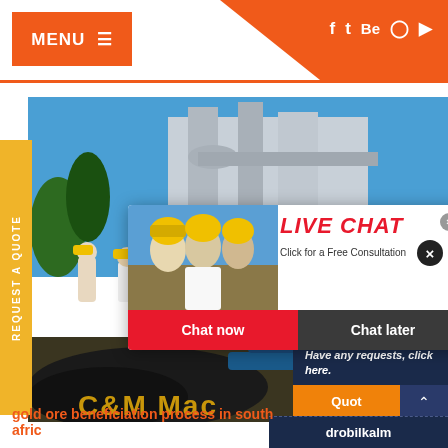MENU ☰
[Figure (screenshot): Website header with orange MENU button on left and social media icons (f, Twitter, Be, Pinterest, YouTube) on right against white background with orange accent triangle]
[Figure (photo): Industrial facility with workers in yellow hard hats with C&M Mac branding overlay]
[Figure (infographic): Live Chat popup overlay showing workers in hard hats, LIVE CHAT heading in red, 'Click for a Free Consultation' subtitle, Chat now (red) and Chat later (dark) buttons, with customer service woman on right]
REQUEST A QUOTE
C&M Mac
Have any requests, click here.
Quot
Enquiry
gold ore beneficiation process in south afric
drobilkalm